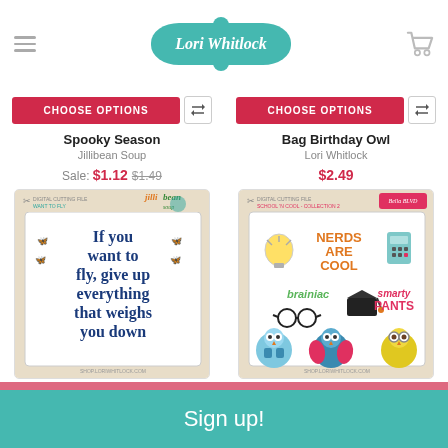Lori Whitlock
CHOOSE OPTIONS
Spooky Season
Jillibean Soup
Sale: $1.12  $1.49
CHOOSE OPTIONS
Bag Birthday Owl
Lori Whitlock
$2.49
[Figure (illustration): Digital cutting file product card with Jillibean Soup branding. Text reads: If you want to fly, give up everything that weighs you down. Dark blue decorative font with butterfly motifs.]
[Figure (illustration): Digital cutting file product card with Bella Blvd branding. School is Cool collection 2. Includes owl clipart, text stickers: NERDS ARE COOL, brainiac, smarty PANTS, with school-related icons like lightbulb, calculator, mortarboard, glasses.]
Sign up!